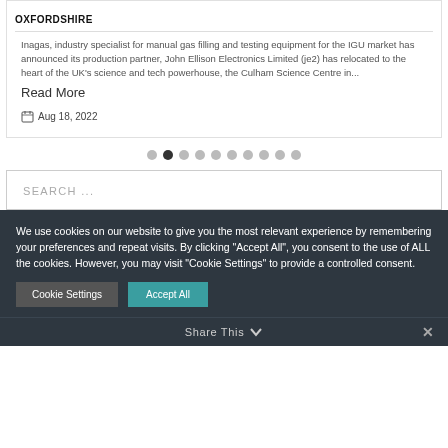OXFORDSHIRE
Inagas, industry specialist for manual gas filling and testing equipment for the IGU market has announced its production partner, John Ellison Electronics Limited (je2) has relocated to the heart of the UK's science and tech powerhouse, the Culham Science Centre in...
Read More
Aug 18, 2022
[Figure (infographic): Pagination dots — 10 dots, second one filled/active]
SEARCH ...
We use cookies on our website to give you the most relevant experience by remembering your preferences and repeat visits. By clicking "Accept All", you consent to the use of ALL the cookies. However, you may visit "Cookie Settings" to provide a controlled consent.
Cookie Settings
Accept All
Share This